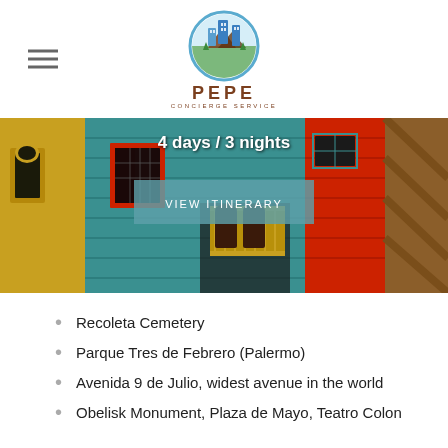[Figure (logo): Pepe Concierge Service circular logo with city skyline and mountains, blue and brown colors]
4 days / 3 nights
[Figure (photo): Colorful buildings of La Boca neighborhood in Buenos Aires with teal, red, and yellow painted walls]
VIEW ITINERARY
Recoleta Cemetery
Parque Tres de Febrero (Palermo)
Avenida 9 de Julio, widest avenue in the world
Obelisk Monument, Plaza de Mayo, Teatro Colon